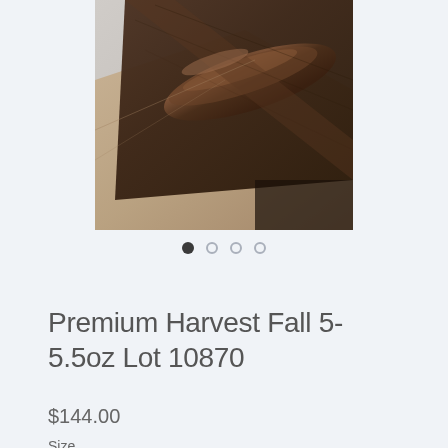[Figure (photo): Rolled dark brown leather pieces stacked on a light surface, product photo for leather lot listing]
Premium Harvest Fall 5-5.5oz Lot 10870
$144.00
Size